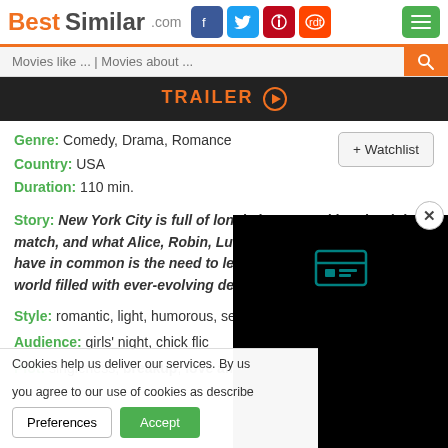BestSimilar.com
Movies like ... | Movies about ...
TRAILER ▶
Genre: Comedy, Drama, Romance
Country: USA
Duration: 110 min.
Story: New York City is full of lonely hearts seeking the right match, and what Alice, Robin, Lucy, Meg, Tom and David all have in common is the need to learn how to be single in a world filled with ever-evolving definitions of love.
Style: romantic, light, humorous, semi serious, sentimental ...
Audience: girls' night, chick flick, date night, teens
Plot: singleness, breakup, love and...
Cookies help us deliver our services. By us... you agree to our use of cookies as describe...